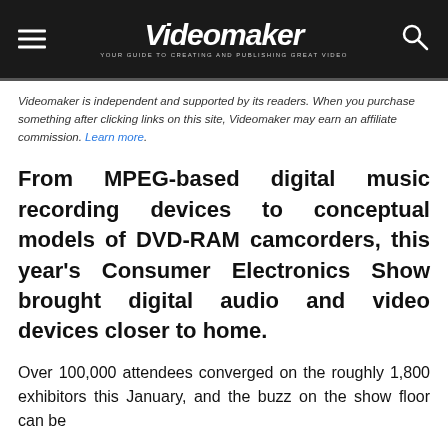Videomaker — YOUR GUIDE TO CREATING AND PUBLISHING GREAT VIDEO
Videomaker is independent and supported by its readers. When you purchase something after clicking links on this site, Videomaker may earn an affiliate commission. Learn more.
From MPEG-based digital music recording devices to conceptual models of DVD-RAM camcorders, this year's Consumer Electronics Show brought digital audio and video devices closer to home.
Over 100,000 attendees converged on the roughly 1,800 exhibitors this January, and the buzz on the show floor can be